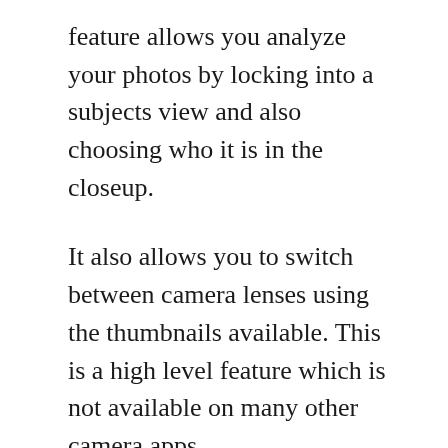feature allows you analyze your photos by locking into a subjects view and also choosing who it is in the closeup.
It also allows you to switch between camera lenses using the thumbnails available. This is a high level feature which is not available on many other camera apps.
Another amazing feature of the app is its ‘Single Take mode’. This feature allows its users to create cool, fun, and nostalgic